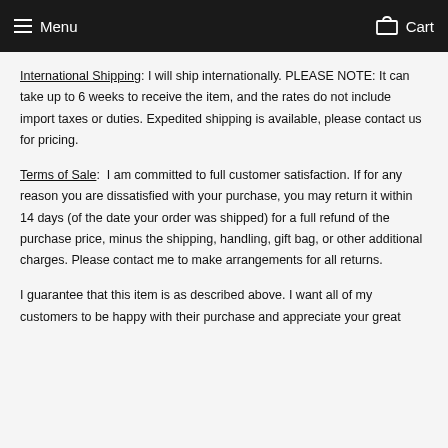Menu   Cart
International Shipping: I will ship internationally. PLEASE NOTE: It can take up to 6 weeks to receive the item, and the rates do not include import taxes or duties. Expedited shipping is available, please contact us for pricing.
Terms of Sale:  I am committed to full customer satisfaction. If for any reason you are dissatisfied with your purchase, you may return it within 14 days (of the date your order was shipped) for a full refund of the purchase price, minus the shipping, handling, gift bag, or other additional charges. Please contact me to make arrangements for all returns.
I guarantee that this item is as described above. I want all of my customers to be happy with their purchase and appreciate your great